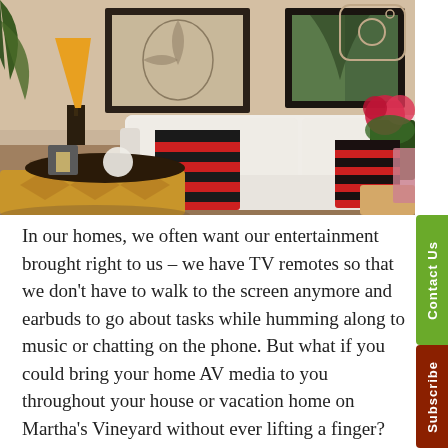[Figure (photo): Interior living room photo showing a white sofa with red and dark striped throw pillows, framed artwork on a beige wall, a table lamp with orange shade, a wooden coffee table with decorative items, and a leather ottoman. Instagram camera icon outline visible top right on wall.]
In our homes, we often want our entertainment brought right to us – we have TV remotes so that we don't have to walk to the screen anymore and earbuds to go about tasks while humming along to music or chatting on the phone. But what if you could bring your home AV media to you throughout your house or vacation home on Martha's Vineyard without ever lifting a finger? Architectural